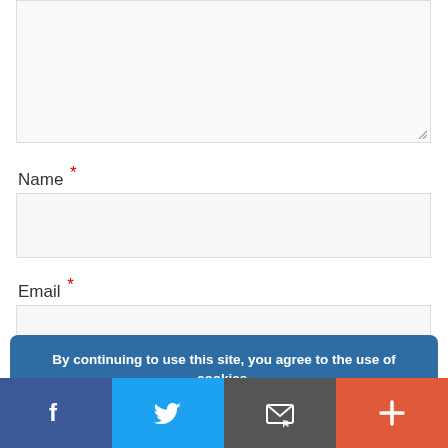Name *
Email *
Website
By continuing to use this site, you agree to the use of cookies.
more info
GOT IT!
Facebook | Twitter | Email | Plus